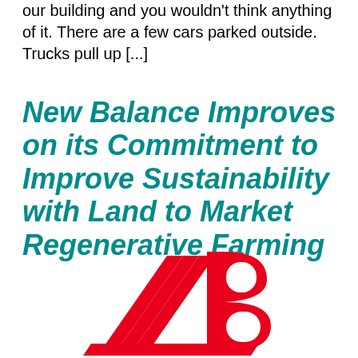our building and you wouldn't think anything of it. There are a few cars parked outside. Trucks pull up [...]
New Balance Improves on its Commitment to Improve Sustainability with Land to Market Regenerative Farming
[Figure (logo): New Balance NB logo in red]